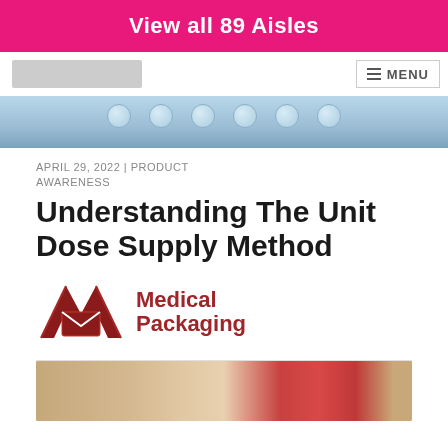View all 89 Aisles
[Figure (screenshot): Navigation bar with logo placeholder and MENU button]
[Figure (photo): Close-up photo of blue blister pill packaging]
APRIL 29, 2022 | PRODUCT AWARENESS
Understanding The Unit Dose Supply Method
[Figure (logo): Medical Packaging Inc logo with stylized M and envelope icon in dark red, with text Medical Packaging in dark red]
[Figure (photo): Partial photo showing a cup of coffee and notebook on a wooden surface]